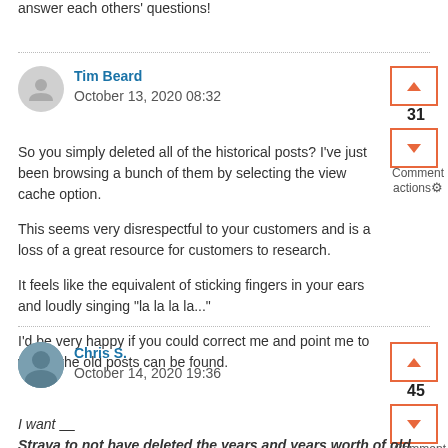answer each others' questions!
Tim Beard
October 13, 2020 08:32

So you simply deleted all of the historical posts? I've just been browsing a bunch of them by selecting the view cache option.

This seems very disrespectful to your customers and is a loss of a great resource for customers to research.

It feels like the equivalent of sticking fingers in your ears and loudly singing "la la la la..."

I'd be very happy if you could correct me and point me to where the old posts can be found.
Chris S.
October 14, 2020 19:36

I want ___
Strava to not have deleted the years and years worth of old